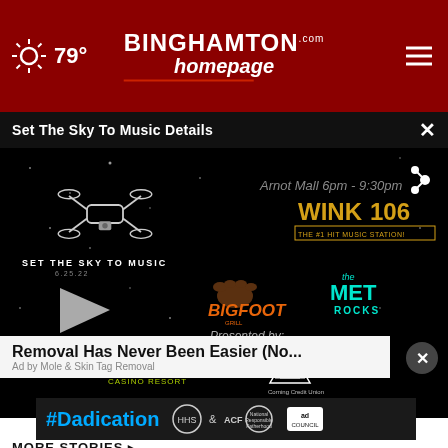79° | Binghamton homepage .com
Set The Sky To Music Details
[Figure (screenshot): Video thumbnail for 'Set The Sky To Music' event at Arnot Mall 6pm-9:30pm. Shows drone graphic, WINK 106 logo, Bigfoot logo, The Met Rocks logo, Tioga Downs Casino Resort logo, Corning Credit Union logo, play button, and text 'Presented by'. Date shown: 6.25.22.]
Removal Has Never Been Easier (No...
Ad by Mole & Skin Tag Removal
[Figure (screenshot): #Dadication banner advertisement with HHS ACF logos and Ad Council logo on dark background]
MORE STORIES ▸